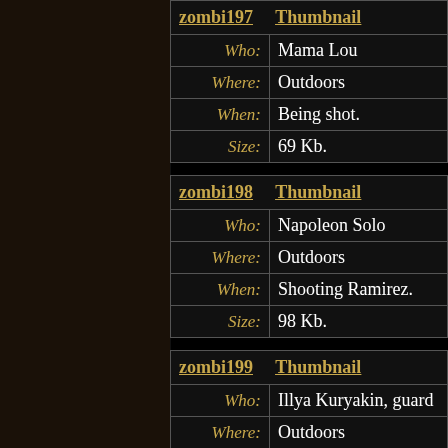| zombi197 | Thumbnail |
| --- | --- |
| Who: | Mama Lou |
| Where: | Outdoors |
| When: | Being shot. |
| Size: | 69 Kb. |
| zombi198 | Thumbnail |
| --- | --- |
| Who: | Napoleon Solo |
| Where: | Outdoors |
| When: | Shooting Ramirez. |
| Size: | 98 Kb. |
| zombi199 | Thumbnail |
| --- | --- |
| Who: | Illya Kuryakin, guard |
| Where: | Outdoors |
| When: | Fighting |